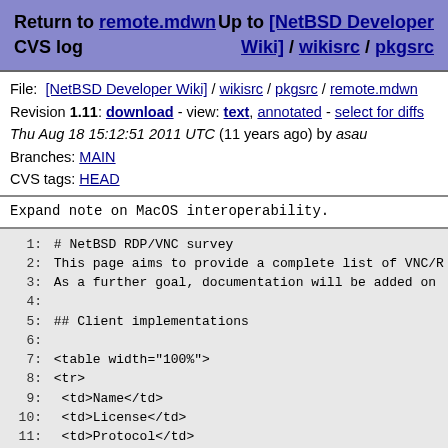Return to remote.mdwn CVS log | Up to [NetBSD Developer Wiki] / wikisrc / pkgsrc
File: [NetBSD Developer Wiki] / wikisrc / pkgsrc / remote.mdwn
Revision 1.11: download - view: text, annotated - select for diffs
Thu Aug 18 15:12:51 2011 UTC (11 years ago) by asau
Branches: MAIN
CVS tags: HEAD
Expand note on MacOS interoperability.
1: # NetBSD RDP/VNC survey
 2: This page aims to provide a complete list of VNC/R
 3: As a further goal, documentation will be added on
 4:
 5: ## Client implementations
 6:
 7: <table width="100%">
 8: <tr>
 9:  <td>Name</td>
10:  <td>License</td>
11:  <td>Protocol</td>
12:  <td>pkgsrc</td>
13:  <td>Linux</td>
14:  <td>FreeBSD port</td>